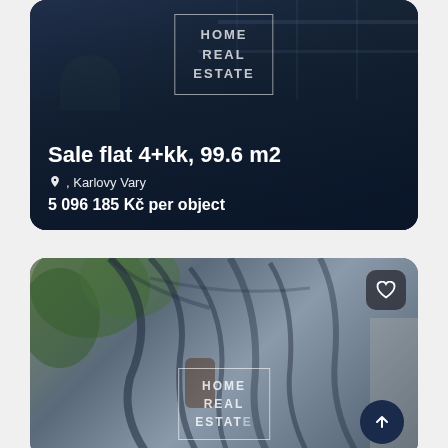[Figure (photo): Real estate listing card showing a modern apartment building with balconies, dark blue overlay. HOME REAL ESTATE watermark logo centered. Shows listing: Sale flat 4+kk, 99.6 m2, location Karlovy Vary, price 5 096 185 Kč per object.]
Sale flat 4+kk, 99.6 m2
, Karlovy Vary
5 096 185 Kč per object
[Figure (photo): Second real estate listing card showing a building facade with tree branch shadows cast across it, blue-grey tones. HOME REAL ESTATE watermark logo visible at bottom center. Heart/favorite button in top right. Scroll-to-top arrow button at bottom right.]